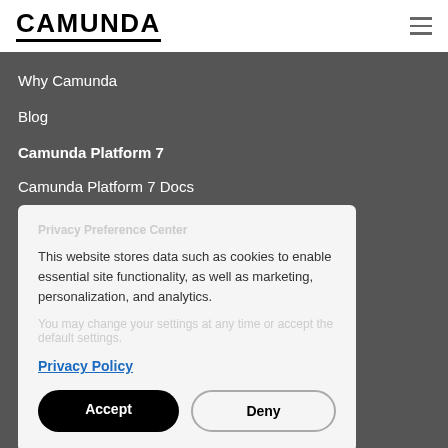CAMUNDA
Why Camunda
Blog
Camunda Platform 7
Camunda Platform 7 Docs
This website stores data such as cookies to enable essential site functionality, as well as marketing, personalization, and analytics.
Privacy Policy
Accept
Deny